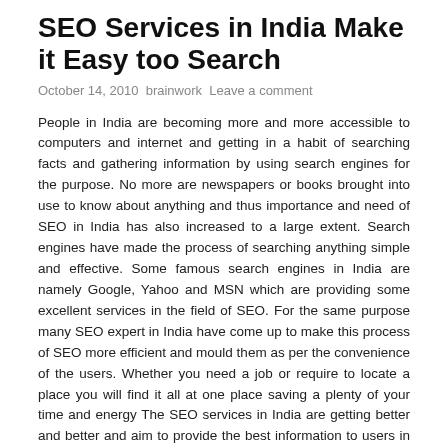SEO Services in India Make it Easy too Search
October 14, 2010  brainwork  Leave a comment
People in India are becoming more and more accessible to computers and internet and getting in a habit of searching facts and gathering information by using search engines for the purpose. No more are newspapers or books brought into use to know about anything and thus importance and need of SEO in India has also increased to a large extent. Search engines have made the process of searching anything simple and effective. Some famous search engines in India are namely Google, Yahoo and MSN which are providing some excellent services in the field of SEO. For the same purpose many SEO expert in India have come up to make this process of SEO more efficient and mould them as per the convenience of the users. Whether you need a job or require to locate a place you will find it all at one place saving a plenty of your time and energy The SEO services in India are getting better and better and aim to provide the best information to users in every possible field.